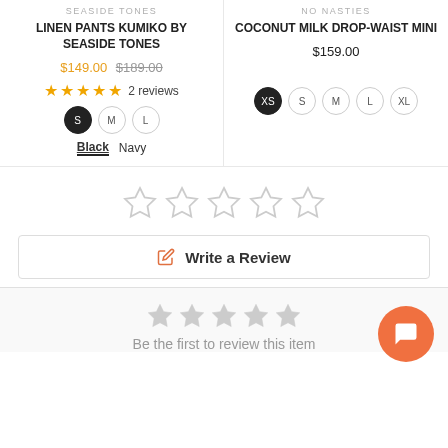SEASIDE TONES
LINEN PANTS KUMIKO BY SEASIDE TONES
$149.00  $189.00
2 reviews
S  M  L
Black  Navy
NO NASTIES
COCONUT MILK DROP-WAIST MINI
$159.00
XS  S  M  L  XL
[Figure (other): Five empty star rating icons]
✎ Write a Review
[Figure (other): Five small grey star rating icons]
Be the first to review this item